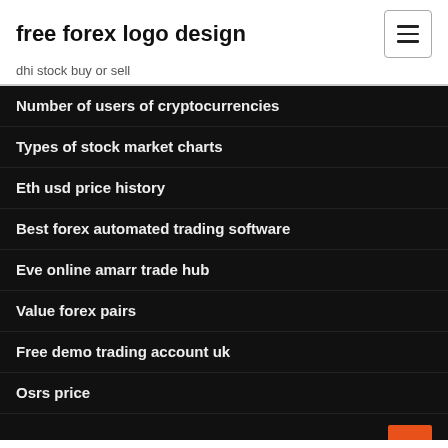free forex logo design
dhi stock buy or sell
Number of users of cryptocurrencies
Types of stock market charts
Eth usd price history
Best forex automated trading software
Eve online amarr trade hub
Value forex pairs
Free demo trading account uk
Osrs price
Warsaw stock exchange logo
Can day traders really make money